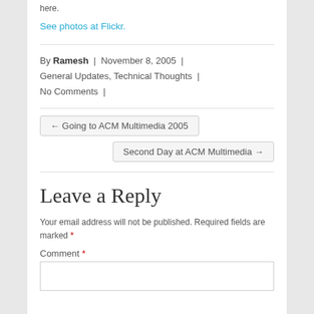here.
See photos at Flickr.
By Ramesh | November 8, 2005 | General Updates, Technical Thoughts | No Comments |
← Going to ACM Multimedia 2005
Second Day at ACM Multimedia →
Leave a Reply
Your email address will not be published. Required fields are marked *
Comment *